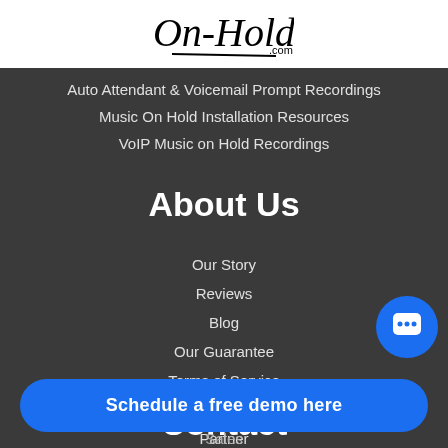[Figure (logo): On-Hold.com logo in script font on white background]
Auto Attendant & Voicemail Prompt Recordings
Music On Hold Installation Resources
VoIP Music on Hold Recordings
About Us
Our Story
Reviews
Blog
Our Guarantee
Terms of Service
Careers
Partner
Contact
Sales
Schedule a free demo here